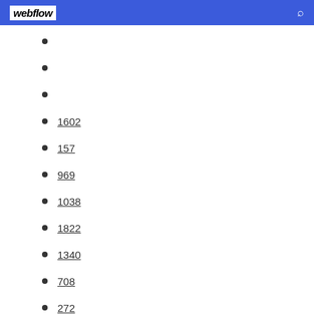webflow
1602
157
969
1038
1822
1340
708
272
1243